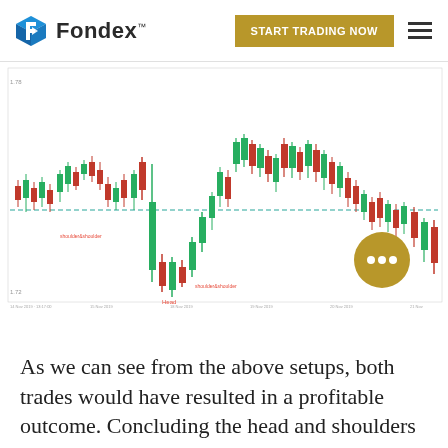Fondex — START TRADING NOW
[Figure (screenshot): Candlestick chart showing a head and shoulders pattern with green and red candles, a horizontal teal dashed neckline, and annotations marking 'shoulder', 'Head', and other pattern labels. The chart displays price oscillations with a prominent downward move forming the head of the pattern.]
As we can see from the above setups, both trades would have resulted in a profitable outcome. Concluding the head and shoulders